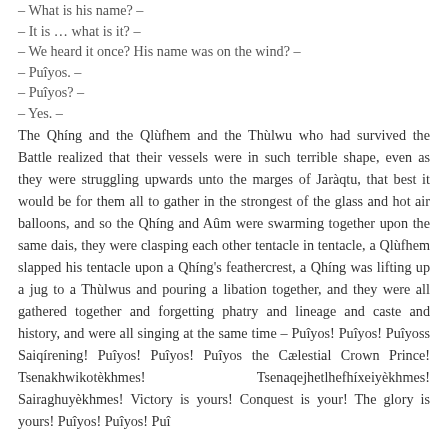– What is his name? –
– It is … what is it? –
– We heard it once? His name was on the wind? –
– Puîyos. –
– Puîyos? –
– Yes. –
The Qhíng and the Qlùfhem and the Thùlwu who had survived the Battle realized that their vessels were in such terrible shape, even as they were struggling upwards unto the marges of Jaràqtu, that best it would be for them all to gather in the strongest of the glass and hot air balloons, and so the Qhíng and Aûm were swarming together upon the same dais, they were clasping each other tentacle in tentacle, a Qlùfhem slapped his tentacle upon a Qhíng's feathercrest, a Qhíng was lifting up a jug to a Thùlwus and pouring a libation together, and they were all gathered together and forgetting phatry and lineage and caste and history, and were all singing at the same time – Puîyos! Puîyos! Puîyoss Saiqírening! Puîyos! Puîyos! Puîyos the Cælestial Crown Prince! Tsenakhwikotèkhmes! Tsenaqejhetlhefhíxeiyèkhmes! Sairaghuyèkhmes! Victory is yours! Conquest is your! The glory is yours! Puîyos! Puîyos! Puî...